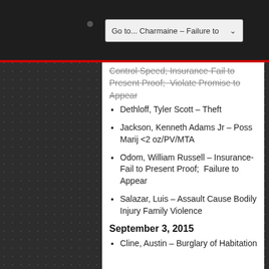Control Speed; Insurance-Fail to Present Proof; Violate Promise to Appear
Dethloff, Tyler Scott – Theft
Jackson, Kenneth Adams Jr – Poss Marij <2 oz/PV/MTA
Odom, William Russell – Insurance-Fail to Present Proof; Failure to Appear
Salazar, Luis – Assault Cause Bodily Injury Family Violence
September 3, 2015
Cline, Austin – Burglary of Habitation